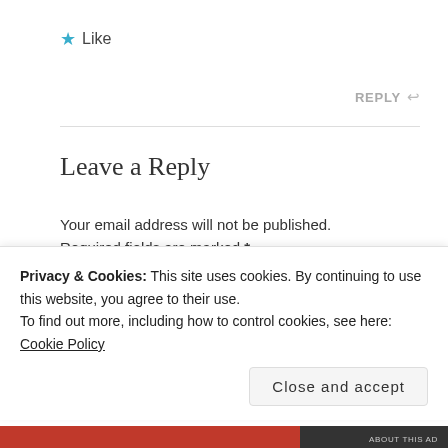★ Like
REPLY ↩
Leave a Reply
Your email address will not be published. Required fields are marked *
Comment
Privacy & Cookies: This site uses cookies. By continuing to use this website, you agree to their use. To find out more, including how to control cookies, see here: Cookie Policy
Close and accept